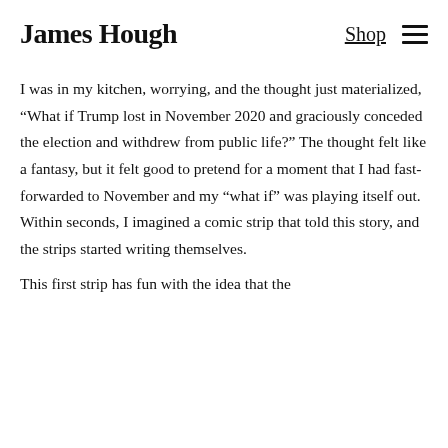James Hough | Shop ≡
I was in my kitchen, worrying, and the thought just materialized, “What if Trump lost in November 2020 and graciously conceded the election and withdrew from public life?” The thought felt like a fantasy, but it felt good to pretend for a moment that I had fast-forwarded to November and my “what if” was playing itself out. Within seconds, I imagined a comic strip that told this story, and the strips started writing themselves.
This first strip has fun with the idea that the